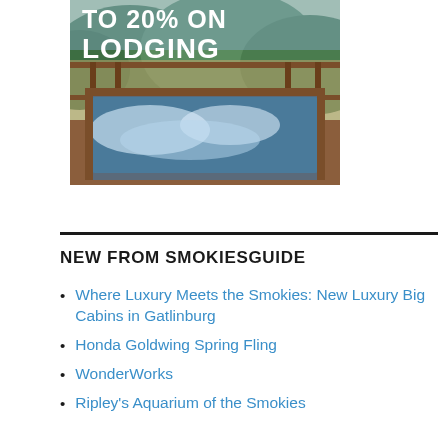[Figure (photo): Photo of a hot tub on a wooden deck with mountain/forest views in the background. White bold text overlaid reads 'TO 20% ON LODGING'.]
NEW FROM SMOKIESGUIDE
Where Luxury Meets the Smokies: New Luxury Big Cabins in Gatlinburg
Honda Goldwing Spring Fling
WonderWorks
Ripley's Aquarium of the Smokies